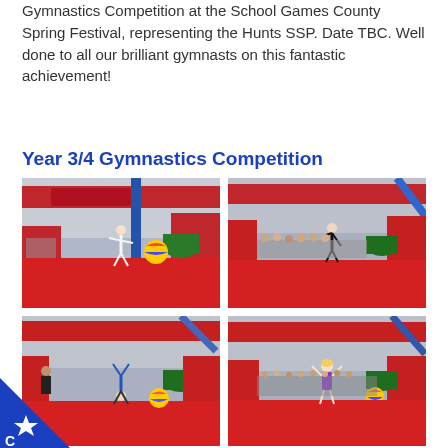Gymnastics Competition at the School Games County Spring Festival, representing the Hunts SSP. Date TBC. Well done to all our brilliant gymnasts on this fantastic achievement!
Year 3/4 Gymnastics Competition
[Figure (photo): Gymnast performing on red floor mat in gymnasium with red padding and blue pole visible]
[Figure (photo): Gymnast performing on red floor mat in gymnasium, audience seated along the wall]
[Figure (photo): Gymnast performing headstand or floor move on red mat in gymnasium]
[Figure (photo): Gymnast in purple leotard standing on red floor mat in gymnasium with audience in background]